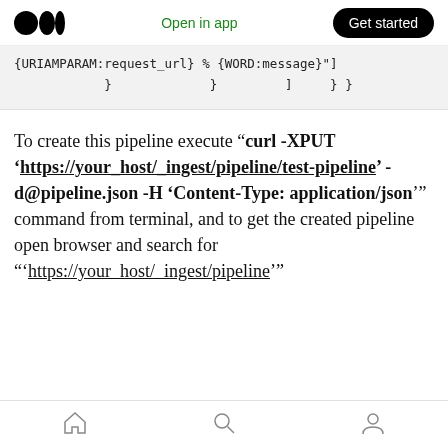Medium logo | Open in app | Get started
{URIAMPARAM:request_url} %
{WORD:message}"]
            }
            }
        ]
    }
}
To create this pipeline execute "curl -XPUT 'https://your_host/_ingest/pipeline/test-pipeline' -d@pipeline.json -H 'Content-Type: application/json'" command from terminal, and to get the created pipeline open browser and search for "'https://your_host/_ingest/pipeline'"
Home | Search | Profile